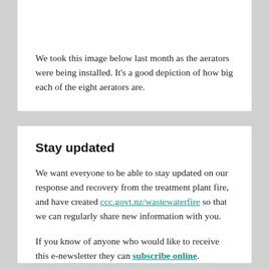We took this image below last month as the aerators were being installed. It's a good depiction of how big each of the eight aerators are.
Stay updated
We want everyone to be able to stay updated on our response and recovery from the treatment plant fire, and have created ccc.govt.nz/wastewaterfire so that we can regularly share new information with you.
If you know of anyone who would like to receive this e-newsletter they can subscribe online.